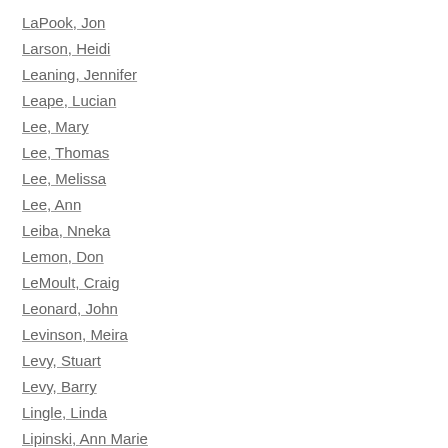LaPook, Jon
Larson, Heidi
Leaning, Jennifer
Leape, Lucian
Lee, Mary
Lee, Thomas
Lee, Melissa
Lee, Ann
Leiba, Nneka
Lemon, Don
LeMoult, Craig
Leonard, John
Levinson, Meira
Levy, Stuart
Levy, Barry
Lingle, Linda
Lipinski, Ann Marie